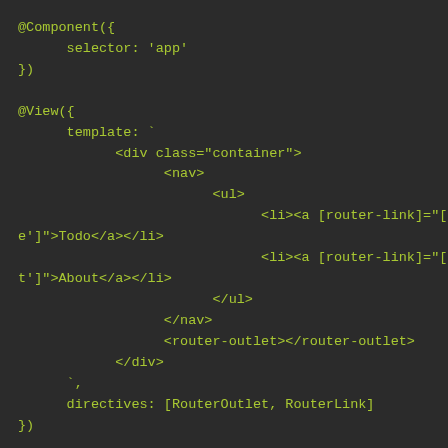[Figure (screenshot): Code editor screenshot showing Angular component and view decorator code with green monospace text on dark background. Code shows @Component with selector 'app', and @View with template containing HTML with router-link navigation and directives array with RouterOutlet and RouterLink.]